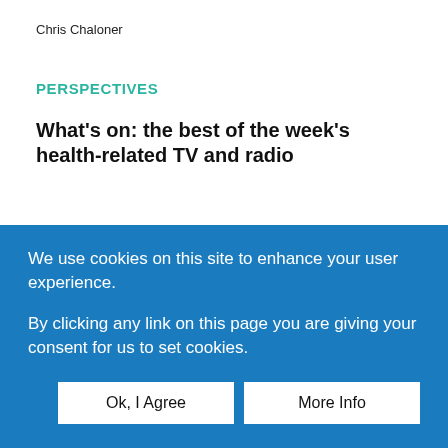Chris Chaloner
PERSPECTIVES
What's on: the best of the week's health-related TV and radio
Way to go
Caroline Hyde
We use cookies on this site to enhance your user experience.
By clicking any link on this page you are giving your consent for us to set cookies.
Ok, I Agree
More Info